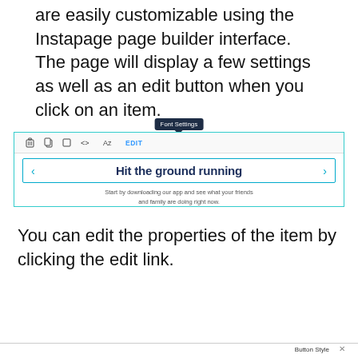The elements that comprise your pages are easily customizable using the Instapage page builder interface. The page will display a few settings as well as an edit button when you click on an item.
[Figure (screenshot): Screenshot of Instapage page builder interface showing a 'Font Settings' tooltip above a toolbar with icons and an EDIT link, and a selected text element reading 'Hit the ground running' with arrows, and subtext 'Start by downloading our app and see what your friends and family are doing right now.']
You can edit the properties of the item by clicking the edit link.
[Figure (screenshot): Bottom portion of Instapage interface showing a 'Button Style' panel with a close X button.]